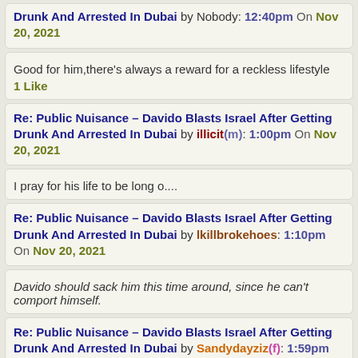Drunk And Arrested In Dubai by Nobody: 12:40pm On Nov 20, 2021
Good for him,there's always a reward for a reckless lifestyle
1 Like
Re: Public Nuisance – Davido Blasts Israel After Getting Drunk And Arrested In Dubai by illicit(m): 1:00pm On Nov 20, 2021
I pray for his life to be long o....
Re: Public Nuisance – Davido Blasts Israel After Getting Drunk And Arrested In Dubai by lkillbrokehoes: 1:10pm On Nov 20, 2021
Davido should sack him this time around, since he can't comport himself.
Re: Public Nuisance – Davido Blasts Israel After Getting Drunk And Arrested In Dubai by Sandydayziz(f): 1:59pm On Nov 20, 2021